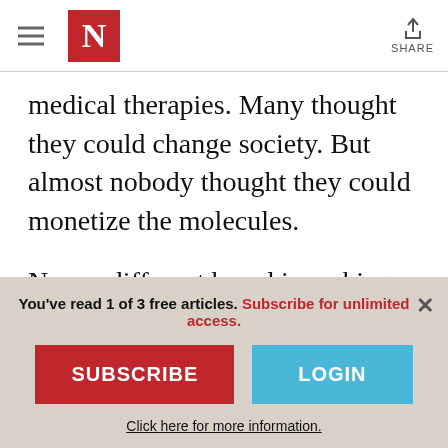N (The New Yorker logo) | SHARE
medical therapies. Many thought they could change society. But almost nobody thought they could monetize the molecules.
Now a different breed is seeking to commercialize these once-taboo drugs: entrepreneurs, venture capitalists, Big Pharma—and, of course, tech giants.
You've read 1 of 3 free articles. Subscribe for unlimited access.
SUBSCRIBE
LOGIN
Click here for more information.